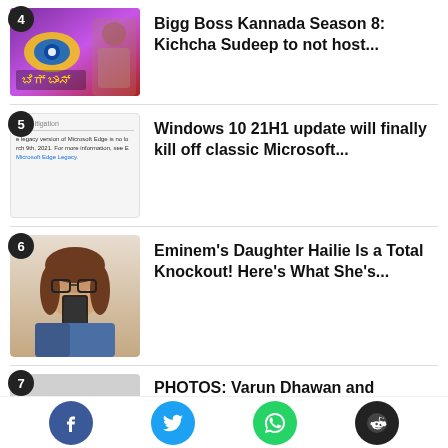[Figure (photo): Bigg Boss Kannada Season 8 thumbnail - purple background with eye logo and man in sunglasses]
Bigg Boss Kannada Season 8: Kichcha Sudeep to not host...
[Figure (screenshot): Screenshot of Microsoft Edge legacy page with text about legacy version of Microsoft Edge]
Windows 10 21H1 update will finally kill off classic Microsoft...
[Figure (photo): Young woman with glasses taking a selfie in a mirror wearing a denim jacket]
Eminem's Daughter Hailie Is a Total Knockout! Here's What She's...
[Figure (photo): Blurred/grey thumbnail for item 7]
PHOTOS: Varun Dhawan and